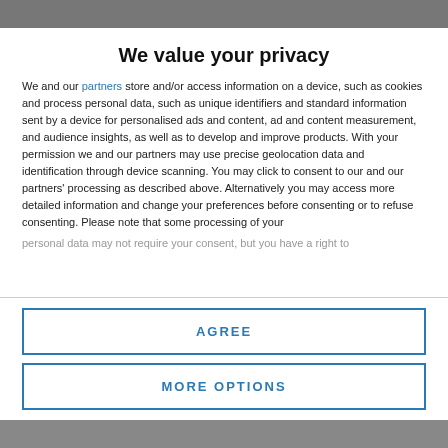[Figure (photo): Top blurred background image strip]
We value your privacy
We and our partners store and/or access information on a device, such as cookies and process personal data, such as unique identifiers and standard information sent by a device for personalised ads and content, ad and content measurement, and audience insights, as well as to develop and improve products. With your permission we and our partners may use precise geolocation data and identification through device scanning. You may click to consent to our and our partners' processing as described above. Alternatively you may access more detailed information and change your preferences before consenting or to refuse consenting. Please note that some processing of your personal data may not require your consent, but you have a right to
AGREE
MORE OPTIONS
[Figure (photo): Bottom blurred background image strip]